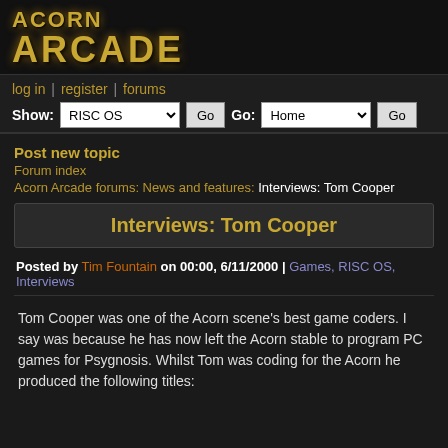[Figure (logo): Acorn Arcade logo in gold metallic lettering on dark background]
log in | register | forums
Show: RISC OS [Go]  Go: Home [Go]
Post new topic
Forum index
Acorn Arcade forums: News and features: Interviews: Tom Cooper
Interviews: Tom Cooper
Posted by Tim Fountain on 00:00, 6/11/2000 | Games, RISC OS, Interviews
Tom Cooper was one of the Acorn scene's best game coders. I say was because he has now left the Acorn stable to program PC games for Psygnosis. Whilst Tom was coding for the Acorn he produced the following titles: